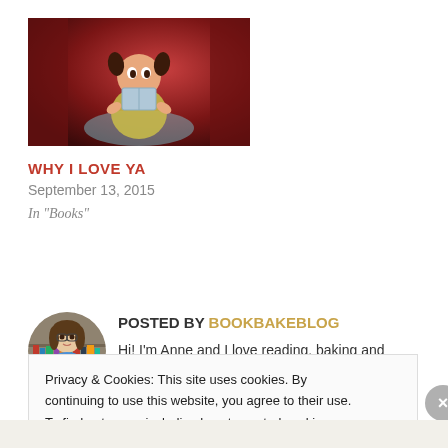[Figure (illustration): Animated character (young girl with pigtails holding a book) from Despicable Me, with warm red and orange background tones]
WHY I LOVE YA
September 13, 2015
In "Books"
POSTED BY BOOKBAKEBLOG
Hi! I'm Anne and I love reading, baking and writing
Privacy & Cookies: This site uses cookies. By continuing to use this website, you agree to their use.
To find out more, including how to control cookies, see here: Cookie Policy
Close and accept